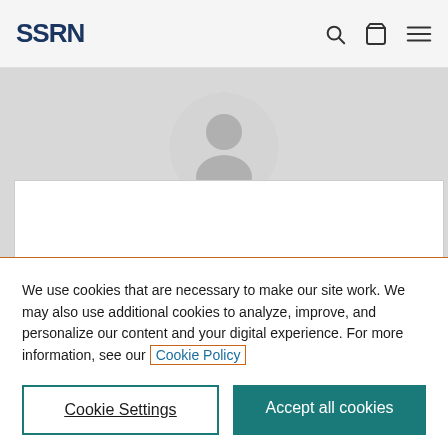SSRN
[Figure (screenshot): SSRN profile page background showing a default user silhouette avatar in a grey circle, with partial author name 'Daniela Weiskopf' visible below]
We use cookies that are necessary to make our site work. We may also use additional cookies to analyze, improve, and personalize our content and your digital experience. For more information, see our Cookie Policy
Cookie Settings
Accept all cookies